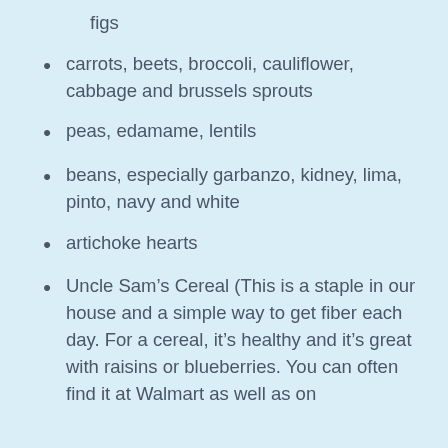figs
carrots, beets, broccoli, cauliflower, cabbage and brussels sprouts
peas, edamame, lentils
beans, especially garbanzo, kidney, lima, pinto, navy and white
artichoke hearts
Uncle Sam’s Cereal (This is a staple in our house and a simple way to get fiber each day. For a cereal, it’s healthy and it’s great with raisins or blueberries. You can often find it at Walmart as well as on